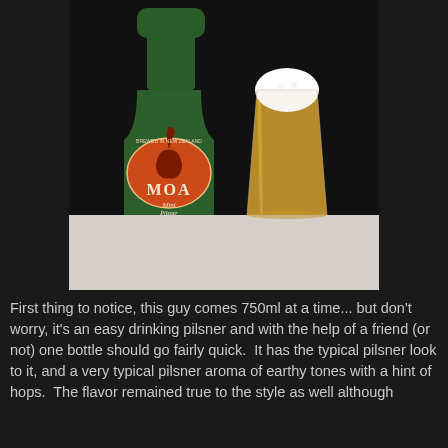[Figure (photo): Photo of a green Moa beer bottle with an orange label featuring a moa bird silhouette and the word MOA, next to a full pint glass of golden pilsner beer with a thick white foam head, on a light surface against a dark background.]
First thing to notice, this guy comes 750ml at a time... but don't worry, it's an easy drinking pilsner and with the help of a friend (or not) one bottle should go fairly quick.  It has the typical pilsner look to it, and a very typical pilsner aroma of earthy tones with a hint of hops.  The flavor remained true to the style as well although